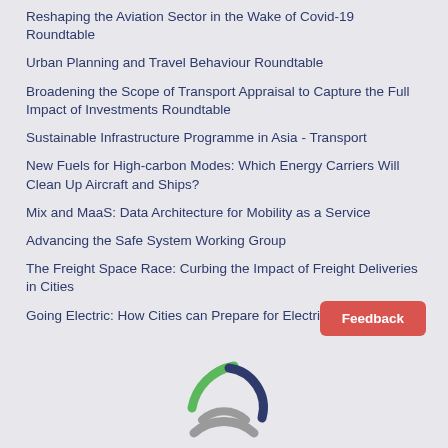Reshaping the Aviation Sector in the Wake of Covid-19 Roundtable
Urban Planning and Travel Behaviour Roundtable
Broadening the Scope of Transport Appraisal to Capture the Full Impact of Investments Roundtable
Sustainable Infrastructure Programme in Asia - Transport
New Fuels for High-carbon Modes: Which Energy Carriers Will Clean Up Aircraft and Ships?
Mix and MaaS: Data Architecture for Mobility as a Service
Advancing the Safe System Working Group
The Freight Space Race: Curbing the Impact of Freight Deliveries in Cities
Going Electric: How Cities can Prepare for Electric Vehicles
[Figure (logo): ITF (International Transport Forum) logo — stylized arc shapes in grey and green with a blue crescent element]
Feedback